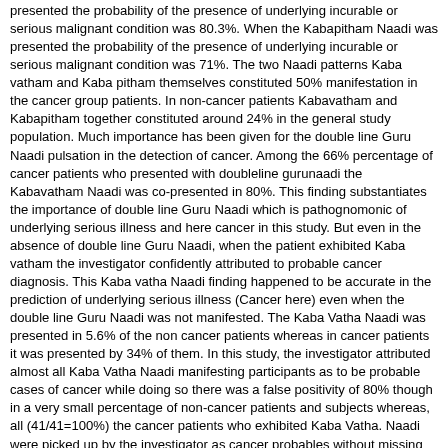presented the probability of the presence of underlying incurable or serious malignant condition was 80.3%. When the Kabapitham Naadi was presented the probability of the presence of underlying incurable or serious malignant condition was 71%. The two Naadi patterns Kaba vatham and Kaba pitham themselves constituted 50% manifestation in the cancer group patients. In non-cancer patients Kabavatham and Kabapitham together constituted around 24% in the general study population. Much importance has been given for the double line Guru Naadi pulsation in the detection of cancer. Among the 66% percentage of cancer patients who presented with doubleline gurunaadi the Kabavatham Naadi was co-presented in 80%. This finding substantiates the importance of double line Guru Naadi which is pathognomonic of underlying serious illness and here cancer in this study. But even in the absence of double line Guru Naadi, when the patient exhibited Kaba vatham the investigator confidently attributed to probable cancer diagnosis. This Kaba vatha Naadi finding happened to be accurate in the prediction of underlying serious illness (Cancer here) even when the double line Guru Naadi was not manifested. The Kaba Vatha Naadi was presented in 5.6% of the non cancer patients whereas in cancer patients it was presented by 34% of them. In this study, the investigator attributed almost all Kaba Vatha Naadi manifesting participants as to be probable cases of cancer while doing so there was a false positivity of 80% though in a very small percentage of non-cancer patients and subjects whereas, all (41/41=100%) the cancer patients who exhibited Kaba Vatha. Naadi were picked up by the investigator as cancer probables without missing even a single case. Therefore it can be categorically stated that, the sensitivity of detecting cancer in Kaba Vatha Naadi exhibiting cancer patients was 100%. Therefore the Kaba Vatha Naadi when detected perfectly in cancer patients will be a perfect screening test for diagnosis. Similarly in the case of Kaba Pitha Naadi the investigator had a sensitivity of 92.5% in detecting the cancer patients in this study. Though there was false positivity while detecting with Kaba Pitha. this Naadi, in this case was not calculated.